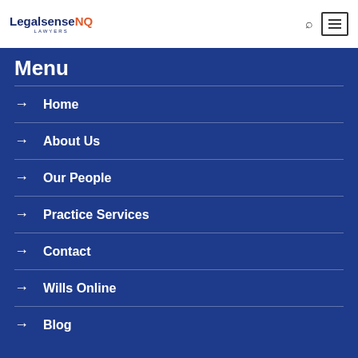LegalsenseNQ LAWYERS
Menu
Home
About Us
Our People
Practice Services
Contact
Wills Online
Blog